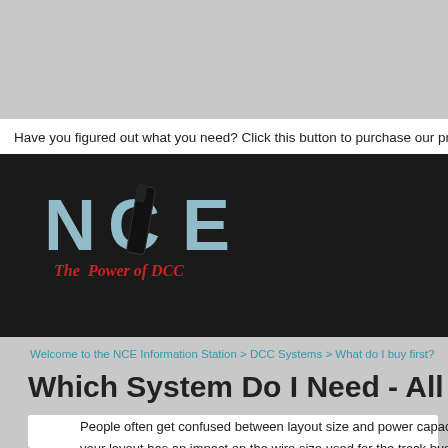Have you figured out what you need? Click this button to purchase our products at
[Figure (logo): NCE logo - The Power of DCC, with stylized letters NCE in blue/white and red italic text below]
Welcome to the NCE Information Station > DCC Systems > What do I buy first?
Which System Do I Need - All Scales
People often get confused between layout size and power capa... your layout has an impact on the wire size used for the track bus... practices used when building your layout. To read more about pr...